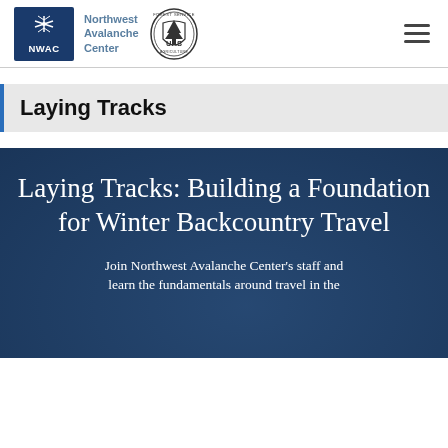Northwest Avalanche Center | NWAC
Laying Tracks
[Figure (illustration): Hero banner with dark navy blue background showing title text: Laying Tracks: Building a Foundation for Winter Backcountry Travel, with subtitle beginning: Join Northwest Avalanche Center's staff and learn the fundamentals around travel in the]
Laying Tracks: Building a Foundation for Winter Backcountry Travel
Join Northwest Avalanche Center's staff and learn the fundamentals around travel in the